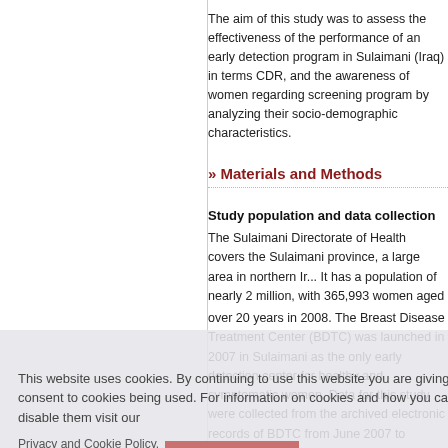The aim of this study was to assess the effectiveness of the performance of an early detection program in Sulaimani (Iraq) in terms CDR, and the awareness of women regarding screening program by analyzing their socio-demographic characteristics.
» Materials and Methods
Study population and data collection
The Sulaimani Directorate of Health covers the Sulaimani province, a large area in northern Ir... It has a population of nearly 2 million, with 365,993 women aged over 20 years in 2008. The Breast Disease Treatment Center (BDTC) was launched in 2007 in Sulaimani as the only early detection center for healthy and symptomatic women. Data for this study were collected from the archived electronic records of BDTC from June 2007 to August 2016, which contained data such as name, age, and file code address of the eligible women. No files were made for girls younger than 14 years with clear sonography. In addition, data of the first and second visits, su
This website uses cookies. By continuing to use this website you are giving consent to cookies being used. For information on cookies and how you can disable them visit our
Privacy and Cookie Policy.